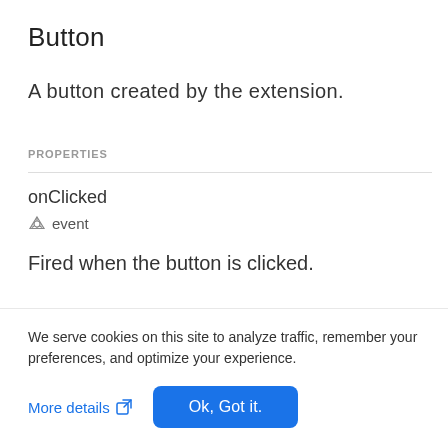Button
A button created by the extension.
PROPERTIES
onClicked
event
Fired when the button is clicked.
The onClicked.addListener function looks like:
We serve cookies on this site to analyze traffic, remember your preferences, and optimize your experience.
More details
Ok, Got it.